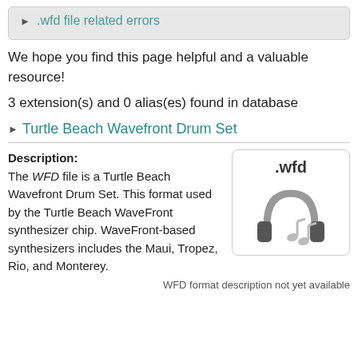▶ .wfd file related errors
We hope you find this page helpful and a valuable resource!
3 extension(s) and 0 alias(es) found in database
▶ Turtle Beach Wavefront Drum Set
Description: The WFD file is a Turtle Beach Wavefront Drum Set. This format used by the Turtle Beach WaveFront synthesizer chip. WaveFront-based synthesizers includes the Maui, Tropez, Rio, and Monterey.
[Figure (illustration): .wfd file icon with headphones and music notes]
WFD format description not yet available